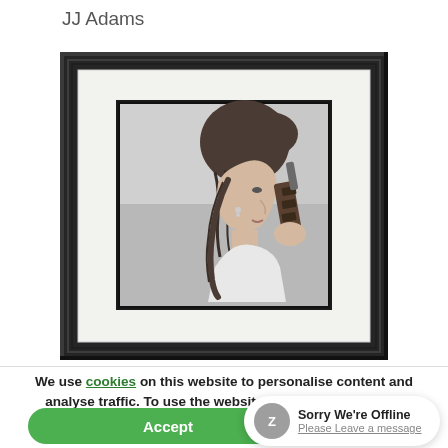JJ Adams
[Figure (photo): Framed black and white portrait of a young woman with braided hair in a bun, shown in profile view holding what appears to be a blaster/gun prop, resembling Princess Leia from Star Wars. The photo is displayed in a dark wooden frame with white matting.]
We use cookies on this website to personalise content and analyse traffic. To use the website as intended, please...
Accept
Sorry We're Offline
Please Leave a message